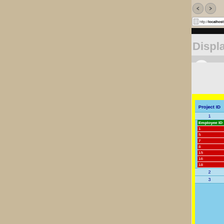http://localhost:48396/
Displaying Dat
| Project ID |
| --- |
| 1 |
| 2 |
| 3 |